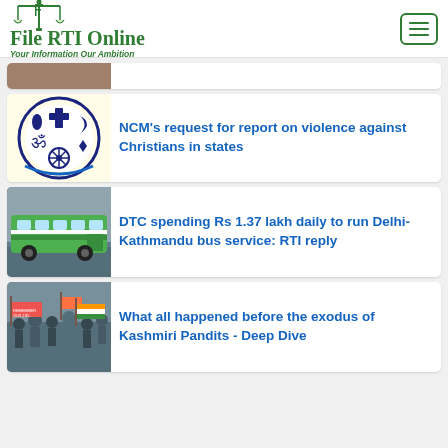File RTI Online — Your Information Our Ambition
[Figure (screenshot): Partially visible news card at top (cropped photo of faces)]
[Figure (logo): NCM (National Commission for Minorities) logo — circular emblem on yellow background]
NCM's request for report on violence against Christians in states
[Figure (photo): Green DTC bus on road]
DTC spending Rs 1.37 lakh daily to run Delhi-Kathmandu bus service: RTI reply
[Figure (photo): Protest crowd with banner 'Remember 19.01.190...']
What all happened before the exodus of Kashmiri Pandits - Deep Dive